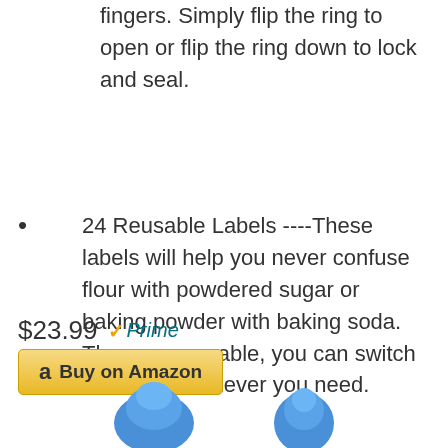fingers. Simply flip the ring to open or flip the ring down to lock and seal.
24 Reusable Labels ----These labels will help you never confuse flour with powdered sugar or baking powder with baking soda. They are reusable, you can switch contents whenever you need.
$23.99 Prime
[Figure (other): Buy on Amazon button with Amazon logo]
[Figure (illustration): Two partially visible blue icons at bottom of page]